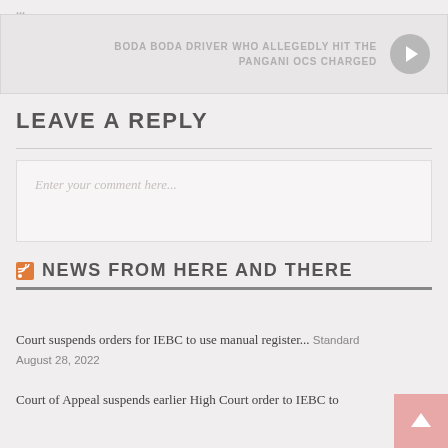...
BODA BODA DRIVER WHO ALLEGEDLY HIT THE PANGANI OCS CHARGED
LEAVE A REPLY
Enter your comment here...
NEWS FROM HERE AND THERE
Court suspends orders for IEBC to use manual register... Standard August 28, 2022
Court of Appeal suspends earlier High Court order to IEBC to